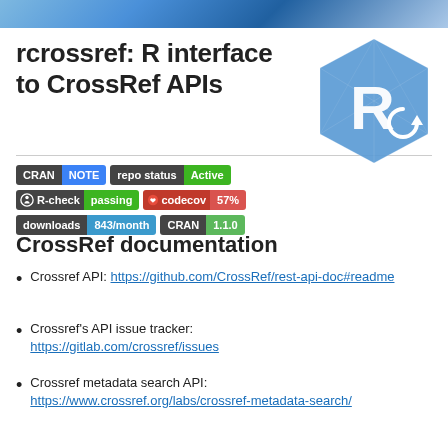rcrossref: R interface to CrossRef APIs
[Figure (logo): Blue hexagonal R logo with circular arrow icon for rcrossref package]
[Figure (infographic): Badges: CRAN NOTE, repo status Active, R-check passing, codecov 57%, downloads 843/month, CRAN 1.1.0]
CrossRef documentation
Crossref API: https://github.com/CrossRef/rest-api-doc#readme
Crossref's API issue tracker: https://gitlab.com/crossref/issues
Crossref metadata search API: https://www.crossref.org/labs/crossref-metadata-search/